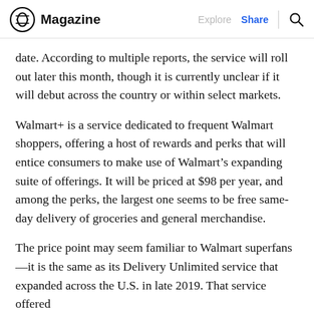Magazine | Explore | Share | Search
date. According to multiple reports, the service will roll out later this month, though it is currently unclear if it will debut across the country or within select markets.
Walmart+ is a service dedicated to frequent Walmart shoppers, offering a host of rewards and perks that will entice consumers to make use of Walmart’s expanding suite of offerings. It will be priced at $98 per year, and among the perks, the largest one seems to be free same-day delivery of groceries and general merchandise.
The price point may seem familiar to Walmart superfans—it is the same as its Delivery Unlimited service that expanded across the U.S. in late 2019. That service offered